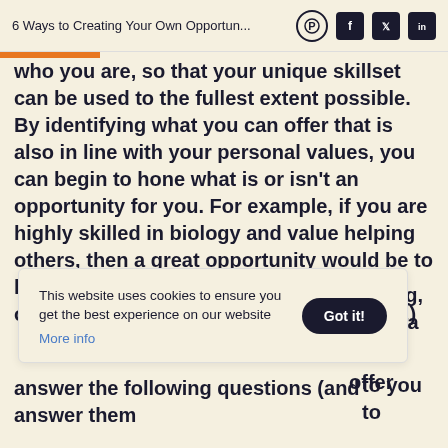6 Ways to Creating Your Own Opportun...
who you are, so that your unique skillset can be used to the fullest extent possible. By identifying what you can offer that is also in line with your personal values, you can begin to hone what is or isn't an opportunity for you. For example, if you are highly skilled in biology and value helping others, then a great opportunity would be to look into medical or nursing school (as opposed to becoming a graphic designer.)
This website uses cookies to ensure you get the best experience on our website
More info
...fering, take a ...kes you special, ...ike to offer ...to you to answer the following questions (and answer them